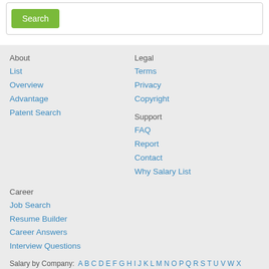[Figure (screenshot): Search button on white background]
About
List
Overview
Advantage
Patent Search
Legal
Terms
Privacy
Copyright
Support
FAQ
Report
Contact
Why Salary List
Career
Job Search
Resume Builder
Career Answers
Interview Questions
Salary by Company: A B C D E F G H I J K L M N O P Q R S T U V W X